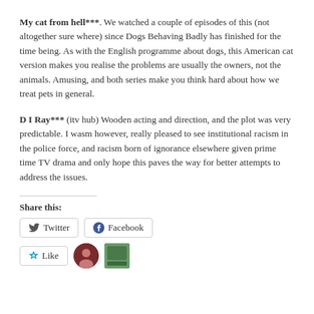My cat from hell***. We watched a couple of episodes of this (not altogether sure where) since Dogs Behaving Badly has finished for the time being. As with the English programme about dogs, this American cat version makes you realise the problems are usually the owners, not the animals. Amusing, and both series make you think hard about how we treat pets in general.
D I Ray*** (itv hub) Wooden acting and direction, and the plot was very predictable. I wasm however, really pleased to see institutional racism in the police force, and racism born of ignorance elsewhere given prime time TV drama and only hope this paves the way for better attempts to address the issues.
Share this: